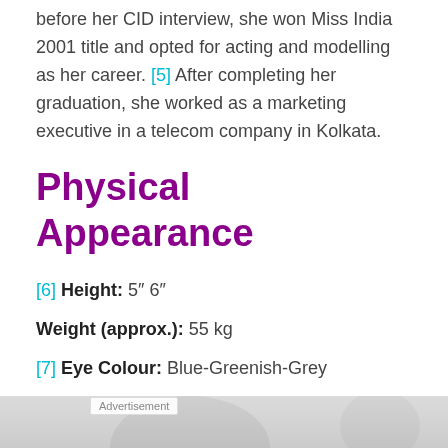before her CID interview, she won Miss India 2001 title and opted for acting and modelling as her career. [5] After completing her graduation, she worked as a marketing executive in a telecom company in Kolkata.
Physical Appearance
[6] Height: 5" 6"
Weight (approx.): 55 kg
[7] Eye Colour: Blue-Greenish-Grey
Hair Colour: Black
Figure Measurements (approx.): 34-25-36